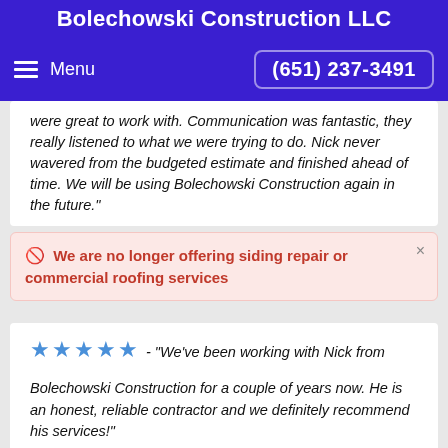Bolechowski Construction LLC
Menu   (651) 237-3491
were great to work with. Communication was fantastic, they really listened to what we were trying to do. Nick never wavered from the budgeted estimate and finished ahead of time. We will be using Bolechowski Construction again in the future."
We are no longer offering siding repair or commercial roofing services
★★★★★ - "We've been working with Nick from Bolechowski Construction for a couple of years now. He is an honest, reliable contractor and we definitely recommend his services!"